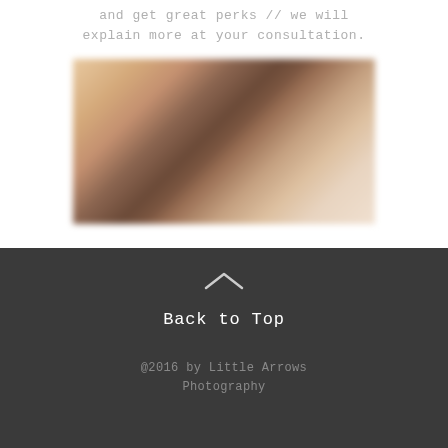and get great perks // we will explain more at your consultation.
[Figure (photo): Blurred close-up photo of what appears to be a newborn baby, soft warm tones with brown and cream colors]
Back to Top
@2016 by Little Arrows Photography